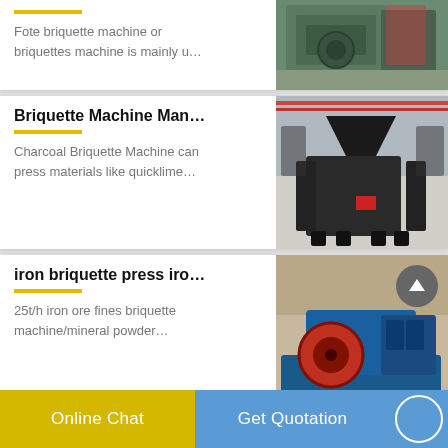[Figure (photo): Top card showing a green industrial briquette machine in a factory setting (partially visible)]
Fote briquette machine or briquettes machine is mainly u…
Briquette Machine Man…
Charcoal Briquette Machine can press materials like quicklime…
[Figure (photo): Industrial charcoal briquette machine, dark/black colored, in a large factory]
iron briquette press iro…
25t/h iron ore fines briquette machine/mineral powder…
[Figure (photo): Blue iron briquette press machine with red flywheel, in a factory]